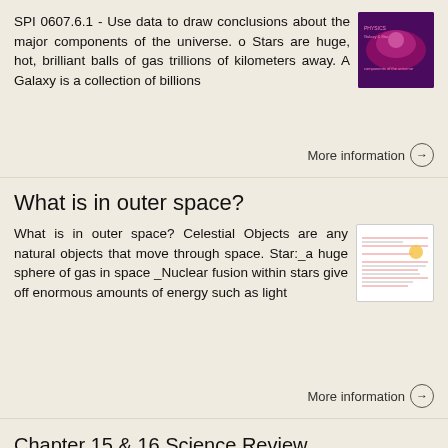SPI 0607.6.1 - Use data to draw conclusions about the major components of the universe. o Stars are huge, hot, brilliant balls of gas trillions of kilometers away. A Galaxy is a collection of billions
[Figure (photo): Thumbnail image with purple/pink cosmic background with text overlay]
More information →
What is in outer space?
What is in outer space? Celestial Objects are any natural objects that move through space. Star:_a huge sphere of gas in space _Nuclear fusion within stars give off enormous amounts of energy such as light
[Figure (photo): Thumbnail image of a document/worksheet with handwritten notes]
More information →
Chapter 15 & 16 Science Review (PATTERNS IN THE SKY, OUR SOLAR SYSTEM)